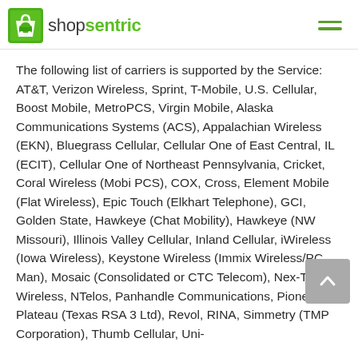shopsentric
The following list of carriers is supported by the Service: AT&T, Verizon Wireless, Sprint, T-Mobile, U.S. Cellular, Boost Mobile, MetroPCS, Virgin Mobile, Alaska Communications Systems (ACS), Appalachian Wireless (EKN), Bluegrass Cellular, Cellular One of East Central, IL (ECIT), Cellular One of Northeast Pennsylvania, Cricket, Coral Wireless (Mobi PCS), COX, Cross, Element Mobile (Flat Wireless), Epic Touch (Elkhart Telephone), GCI, Golden State, Hawkeye (Chat Mobility), Hawkeye (NW Missouri), Illinois Valley Cellular, Inland Cellular, iWireless (Iowa Wireless), Keystone Wireless (Immix Wireless/PC Man), Mosaic (Consolidated or CTC Telecom), Nex-Tech Wireless, NTelos, Panhandle Communications, Pioneer, Plateau (Texas RSA 3 Ltd), Revol, RINA, Simmetry (TMP Corporation), Thumb Cellular, Uni-